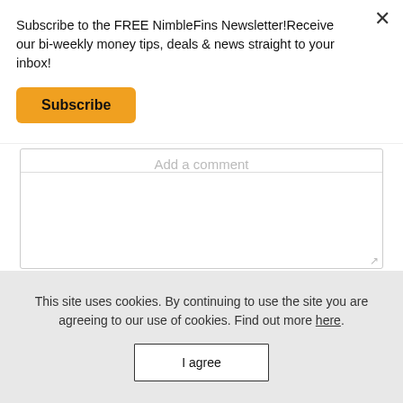Subscribe to the FREE NimbleFins Newsletter!Receive our bi-weekly money tips, deals & news straight to your inbox!
Subscribe
Add a comment
M ↓   COMMENT ANONYMOUSLY   ADD COMMENT
MARKDOWN
This site uses cookies. By continuing to use the site you are agreeing to our use of cookies. Find out more here.
I agree